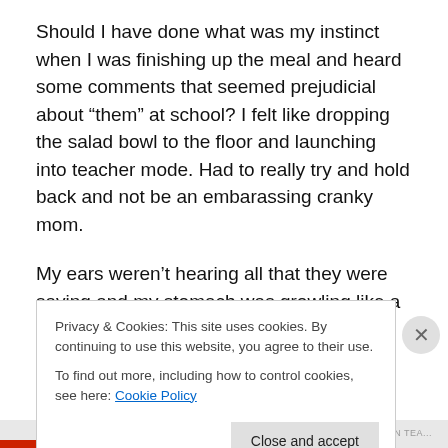Should I have done what was my instinct when I was finishing up the meal and heard some comments that seemed prejudicial about “them” at school? I felt like dropping the salad bowl to the floor and launching into teacher mode. Had to really try and hold back and not be an embarassing cranky mom.
My ears weren’t hearing all that they were saying and my stomach was growling like a mountain lion at the time, but I’m certain I heard a “them” comment from the kids. It was
Privacy & Cookies: This site uses cookies. By continuing to use this website, you agree to their use.
To find out more, including how to control cookies, see here: Cookie Policy
Close and accept